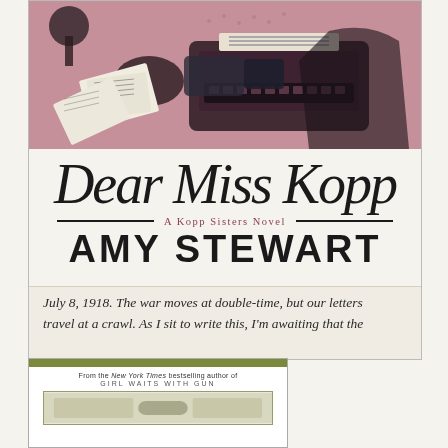[Figure (illustration): Book cover illustration showing hands holding papers/letters near a typewriter, rendered in dark pink/mauve and black ink style against pink background]
Dear Miss Kopp
A Kopp Sisters Novel
AMY STEWART
July 8, 1918. The war moves at double-time, but our letters travel at a crawl. As I sit to write this, I'm awaiting that the
[Figure (illustration): Partial view of a second book cover edition with olive/green bar at top, text reading 'From the New York Times bestselling author of GIRL WAITS WITH GUN', and a decorative inner border]